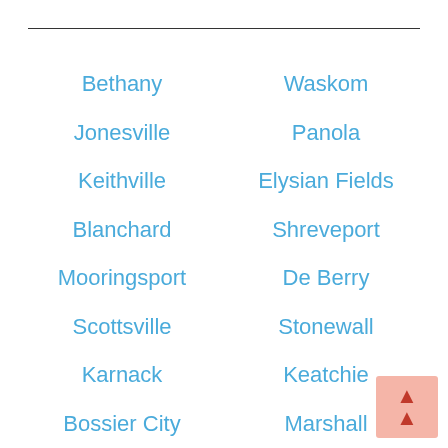Bethany
Waskom
Jonesville
Panola
Keithville
Elysian Fields
Blanchard
Shreveport
Mooringsport
De Berry
Scottsville
Stonewall
Karnack
Keatchie
Bossier City
Marshall